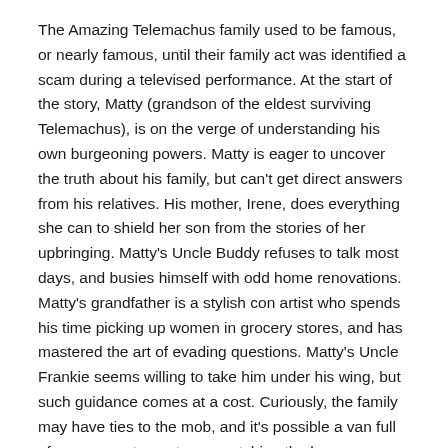The Amazing Telemachus family used to be famous, or nearly famous, until their family act was identified a scam during a televised performance. At the start of the story, Matty (grandson of the eldest surviving Telemachus), is on the verge of understanding his own burgeoning powers. Matty is eager to uncover the truth about his family, but can't get direct answers from his relatives. His mother, Irene, does everything she can to shield her son from the stories of her upbringing. Matty's Uncle Buddy refuses to talk most days, and busies himself with odd home renovations. Matty's grandfather is a stylish con artist who spends his time picking up women in grocery stores, and has mastered the art of evading questions. Matty's Uncle Frankie seems willing to take him under his wing, but such guidance comes at a cost. Curiously, the family may have ties to the mob, and it's possible a van full of government agents are watching the house.
What more can I say? I feel like the synopsis is enough to entice you.
Spoonbenders is a complete delight. The characters are quirky, and dysfunctional in a comic, lovable way. The story jumps around a little, dipping into memories from the Telemachus family past, yet the